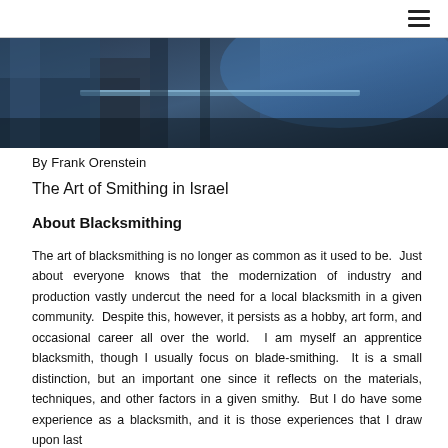≡
[Figure (photo): Dark blue-toned photograph showing what appears to be a smithing or workshop scene with metalwork equipment and blue-lit background.]
By Frank Orenstein
The Art of Smithing in Israel
About Blacksmithing
The art of blacksmithing is no longer as common as it used to be. Just about everyone knows that the modernization of industry and production vastly undercut the need for a local blacksmith in a given community. Despite this, however, it persists as a hobby, art form, and occasional career all over the world. I am myself an apprentice blacksmith, though I usually focus on blade-smithing. It is a small distinction, but an important one since it reflects on the materials, techniques, and other factors in a given smithy. But I do have some experience as a blacksmith, and it is those experiences that I draw upon last